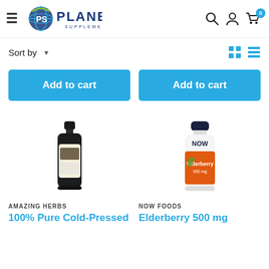[Figure (logo): Planet Supplements logo with globe icon and blue text]
Sort by ▾
[Figure (infographic): Grid and list view toggle icons in teal/cyan color]
Add to cart
Add to cart
[Figure (photo): Dark glass bottle of Amazing Herbs 100% Pure Cold-Pressed supplement]
[Figure (photo): NOW Foods Elderberry 500 mg supplement bottle with orange label and navy cap]
AMAZING HERBS
NOW FOODS
100% Pure Cold-Pressed
Elderberry 500 mg